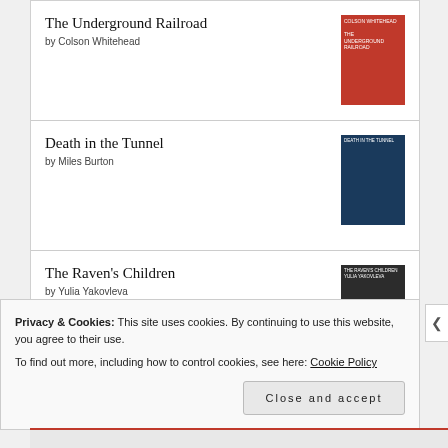The Underground Railroad by Colson Whitehead
Death in the Tunnel by Miles Burton
The Raven's Children by Yulia Yakovleva
Privacy & Cookies: This site uses cookies. By continuing to use this website, you agree to their use.
To find out more, including how to control cookies, see here: Cookie Policy
Close and accept